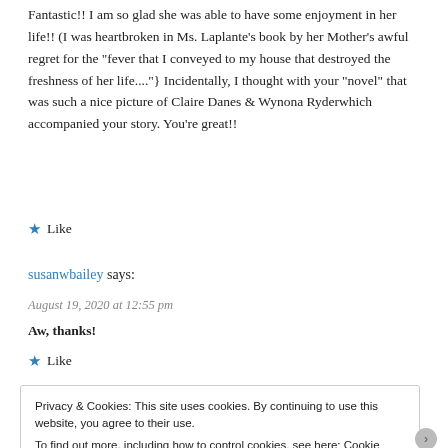Fantastic!! I am so glad she was able to have some enjoyment in her life!! (I was heartbroken in Ms. Laplante’s book by her Mother’s awful regret for the “fever that I conveyed to my house that destroyed the freshness of her life....”} Incidentally, I thought with your “novel” that was such a nice picture of Claire Danes & Wynona Ryderwhich accompanied your story. You’re great!!
★ Like
susanwbailey says:
August 19, 2020 at 12:55 pm
Aw, thanks!
★ Like
Privacy & Cookies: This site uses cookies. By continuing to use this website, you agree to their use.
To find out more, including how to control cookies, see here: Cookie Policy
Close and accept